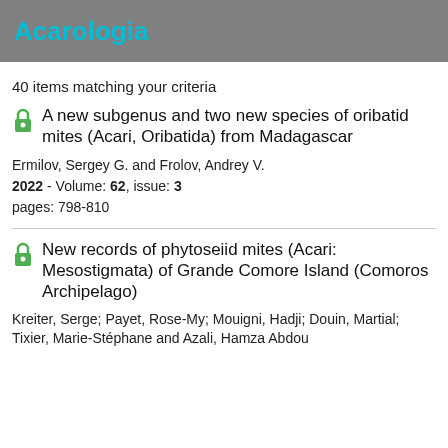Acarologia
40 items matching your criteria
A new subgenus and two new species of oribatid mites (Acari, Oribatida) from Madagascar
Ermilov, Sergey G. and Frolov, Andrey V.
2022 - Volume: 62, issue: 3
pages: 798-810
New records of phytoseiid mites (Acari: Mesostigmata) of Grande Comore Island (Comoros Archipelago)
Kreiter, Serge; Payet, Rose-My; Mouigni, Hadji; Douin, Martial; Tixier, Marie-Stéphane and Azali, Hamza Abdou